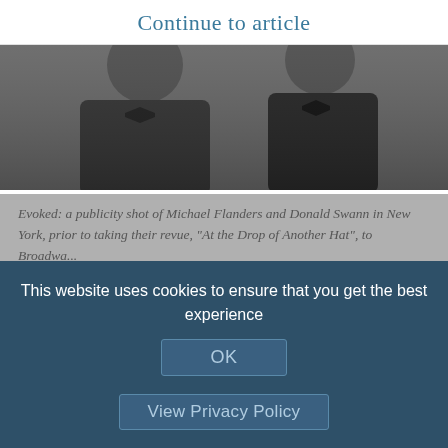Continue to article
[Figure (photo): Black and white photograph of two men in formal attire (tuxedos with bow ties), publicity shot of Michael Flanders and Donald Swann in New York.]
Evoked: a publicity shot of Michael Flanders and Donald Swann in New York, prior to taking their revue, "At the Drop of Another Hat", to Broadwa...
COMEDY and comebacks helped the ninth quinquennium of the General Synod draw gleefully to its close with the
This website uses cookies to ensure that you get the best experience
OK
View Privacy Policy